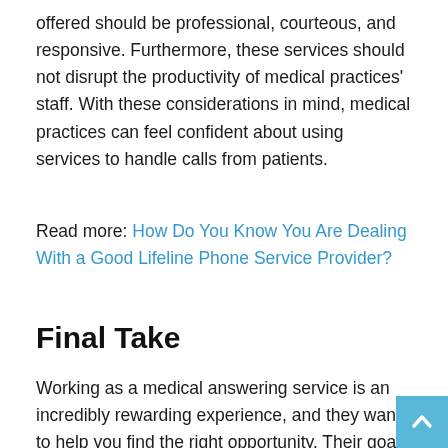offered should be professional, courteous, and responsive. Furthermore, these services should not disrupt the productivity of medical practices' staff. With these considerations in mind, medical practices can feel confident about using services to handle calls from patients.
Read more: How Do You Know You Are Dealing With a Good Lifeline Phone Service Provider?
Final Take
Working as a medical answering service is an incredibly rewarding experience, and they want to help you find the right opportunity. Their goal is to provide exceptional care for your patients while also providing quality customer service for you. Medical answering services can provide your practice with the benefits of a larger, more established company without having